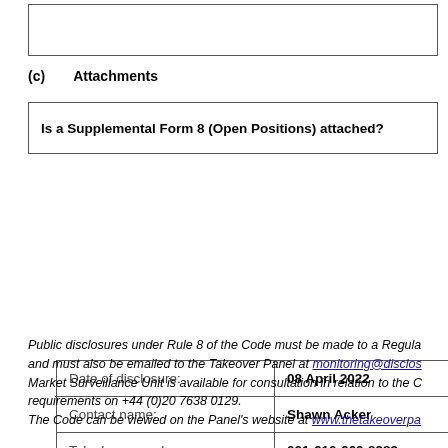|  |
(c)    Attachments
| Is a Supplemental Form 8 (Open Positions) attached? |
| Date of disclosure: | 08 April 2022 |
| Contact name: | Shawn Acker |
| Telephone number: | 001-610-669-8989 |
Public disclosures under Rule 8 of the Code must be made to a Regulatory Information Service and must also be emailed to the Takeover Panel at monitoring@disclosures.org.uk. The Market Surveillance Unit is available for consultation in relation to the Code's disclosure requirements on +44 (0)20 7638 0129.
The Code can be viewed on the Panel's website at www.thetakeoverpanel.org.uk.